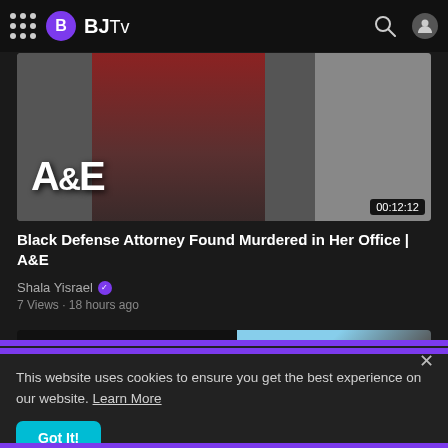BJTv
[Figure (screenshot): Video thumbnail for A&E clip showing a Black woman in a suit with law books in background, A&E logo overlay, duration badge 00:12:12]
Black Defense Attorney Found Murdered in Her Office | A&E
Shala Yisrael
7 Views · 18 hours ago
[Figure (screenshot): Partially visible second video thumbnail showing large white text 'WHITE' on dark background with outdoor scene on right]
This website uses cookies to ensure you get the best experience on our website. Learn More
Got It!